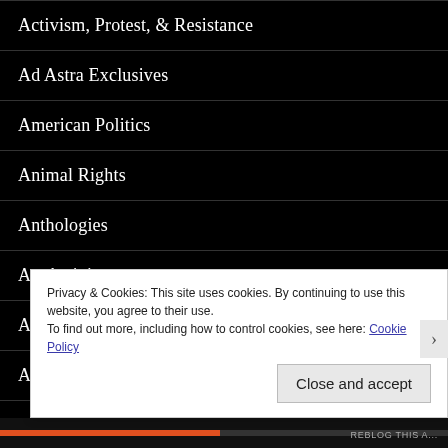Activism, Protest, & Resistance
Ad Astra Exclusives
American Politics
Animal Rights
Anthologies
Art Activism
Asia
Autobiographical
Biographical
Privacy & Cookies: This site uses cookies. By continuing to use this website, you agree to their use.
To find out more, including how to control cookies, see here: Cookie Policy
Close and accept